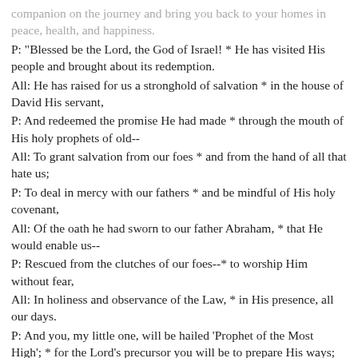companion on the journey and bring you back to your homes in peace, health, and happiness.
P: "Blessed be the Lord, the God of Israel! * He has visited His people and brought about its redemption.
All: He has raised for us a stronghold of salvation * in the house of David His servant,
P: And redeemed the promise He had made * through the mouth of His holy prophets of old--
All: To grant salvation from our foes * and from the hand of all that hate us;
P: To deal in mercy with our fathers * and be mindful of His holy covenant,
All: Of the oath he had sworn to our father Abraham, * that He would enable us--
P: Rescued from the clutches of our foes--* to worship Him without fear,
All: In holiness and observance of the Law, * in His presence, all our days.
P: And you, my little one, will be hailed 'Prophet of the Most High'; * for the Lord's precursor you will be to prepare His ways;
All: You are to impart to His people knowledge of salvation * through forgiveness of their sins.